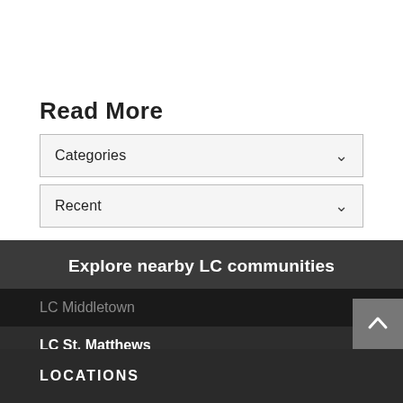Read More
Categories
Recent
Explore nearby LC communities
LC Middletown
LC St. Matthews
LOCATIONS